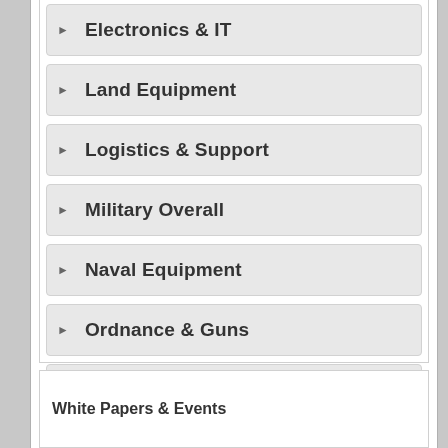Electronics & IT
Land Equipment
Logistics & Support
Military Overall
Naval Equipment
Ordnance & Guns
Space
WMD
White Papers & Events